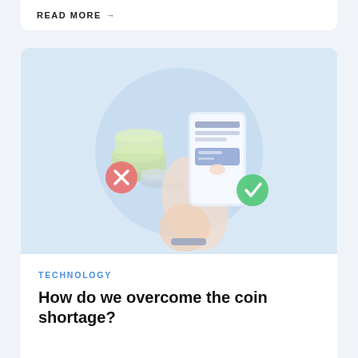READ MORE →
[Figure (illustration): Illustration of hands holding a smartphone with a mobile payment interface, stacks of coins/money with a red X icon on the left, and a green checkmark icon on the right, set against a light blue circular background.]
TECHNOLOGY
How do we overcome the coin shortage?